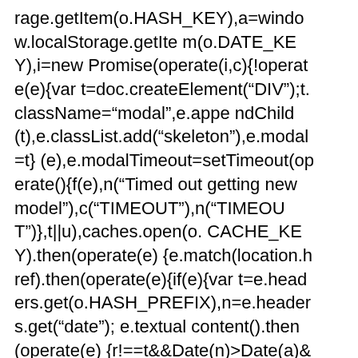rage.getItem(o.HASH_KEY),a=window.localStorage.getItem(o.DATE_KEY),i=new Promise(operate(i,c){!operate(e){var t=doc.createElement("DIV");t.className="modal",e.appendChild(t),e.classList.add("skeleton"),e.modal=t}(e),e.modalTimeout=setTimeout(operate(){f(e),n("Timed out getting new model"),c("TIMEOUT"),n("TIMEOUT")},t||u),caches.open(o.CACHE_KEY).then(operate(e){e.match(location.href).then(operate(e){if(e){var t=e.headers.get(o.HASH_PREFIX),n=e.headers.get("date");e.textual content().then(operate(e){r!==t&&Date(n)>Date(a)&&i({content material:e,contentHash:t,standing:"networkCacheUpdate",date:n})})}})}),navigator.serviceWorker.addEventListener("message",operate(e){if(e.origin===location.origin){var t=e.information;if(t&&"NEW_VERSION"===t.message&&t.url===location.href){n("Updating from sw message"),n("NETWORK_UPDATE");var r={content